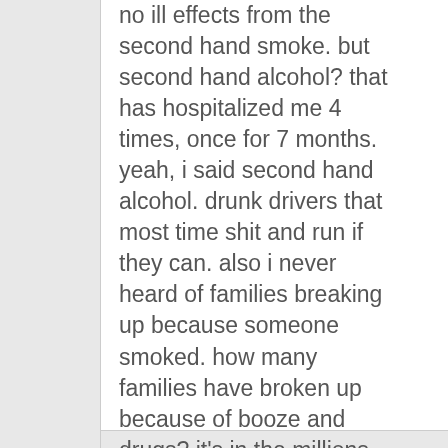no ill effects from the second hand smoke. but second hand alcohol? that has hospitalized me 4 times, once for 7 months. yeah, i said second hand alcohol. drunk drivers that most time shit and run if they can. also i never heard of families breaking up because someone smoked. how many families have broken up because of booze and drugs? it's in the millions over the years.